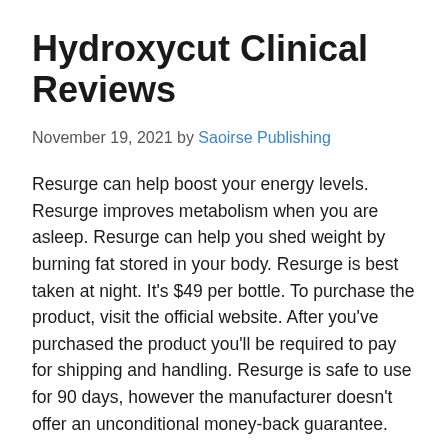Hydroxycut Clinical Reviews
November 19, 2021 by Saoirse Publishing
Resurge can help boost your energy levels. Resurge improves metabolism when you are asleep. Resurge can help you shed weight by burning fat stored in your body. Resurge is best taken at night. It’s $49 per bottle. To purchase the product, visit the official website. After you’ve purchased the product you’ll be required to pay for shipping and handling. Resurge is safe to use for 90 days, however the manufacturer doesn’t offer an unconditional money-back guarantee.